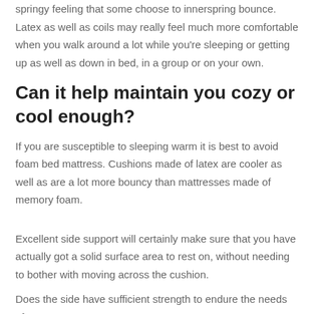springy feeling that some choose to innerspring bounce. Latex as well as coils may really feel much more comfortable when you walk around a lot while you're sleeping or getting up as well as down in bed, in a group or on your own.
Can it help maintain you cozy or cool enough?
If you are susceptible to sleeping warm it is best to avoid foam bed mattress. Cushions made of latex are cooler as well as are a lot more bouncy than mattresses made of memory foam.
Excellent side support will certainly make sure that you have actually got a solid surface area to rest on, without needing to bother with moving across the cushion.
Does the side have sufficient strength to endure the needs of your use?